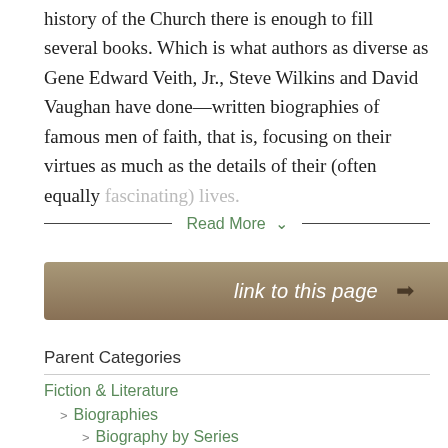history of the Church there is enough to fill several books. Which is what authors as diverse as Gene Edward Veith, Jr., Steve Wilkins and David Vaughan have done—written biographies of famous men of faith, that is, focusing on their virtues as much as the details of their (often equally fascinating) lives.
Read More ∨
link to this page →
Parent Categories
Fiction & Literature
> Biographies
> Biography by Series
> Leaders in Action
[Figure (photo): Partial view of a portrait or illustration, showing a person looking upward, with a teal/blue-green background.]